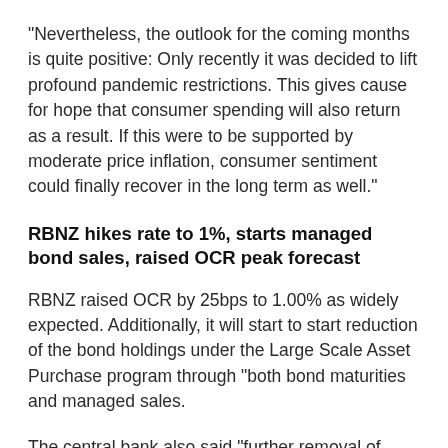“Nevertheless, the outlook for the coming months is quite positive: Only recently it was decided to lift profound pandemic restrictions. This gives cause for hope that consumer spending will also return as a result. If this were to be supported by moderate price inflation, consumer sentiment could finally recover in the long term as well.”
RBNZ hikes rate to 1%, starts managed bond sales, raised OCR peak forecast
RBNZ raised OCR by 25bps to 1.00% as widely expected. Additionally, it will start to start reduction of the bond holdings under the Large Scale Asset Purchase program through “both bond maturities and managed sales.
The central bank also said “further removal of